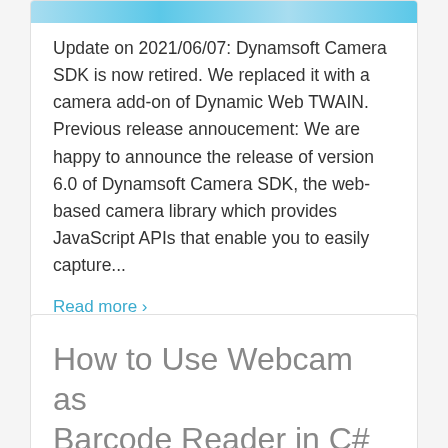[Figure (other): Light blue banner graphic at the top of a card]
Update on 2021/06/07: Dynamsoft Camera SDK is now retired. We replaced it with a camera add-on of Dynamic Web TWAIN. Previous release annoucement: We are happy to announce the release of version 6.0 of Dynamsoft Camera SDK, the web-based camera library which provides JavaScript APIs that enable you to easily capture...
Read more ›
How to Use Webcam as Barcode Reader in C#